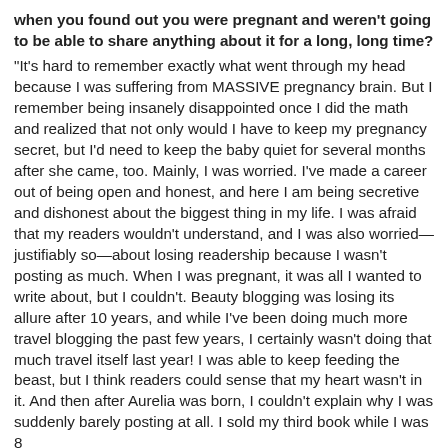when you found out you were pregnant and weren't going to be able to share anything about it for a long, long time?
"It's hard to remember exactly what went through my head because I was suffering from MASSIVE pregnancy brain. But I remember being insanely disappointed once I did the math and realized that not only would I have to keep my pregnancy secret, but I'd need to keep the baby quiet for several months after she came, too. Mainly, I was worried. I've made a career out of being open and honest, and here I am being secretive and dishonest about the biggest thing in my life. I was afraid that my readers wouldn't understand, and I was also worried—justifiably so—about losing readership because I wasn't posting as much. When I was pregnant, it was all I wanted to write about, but I couldn't. Beauty blogging was losing its allure after 10 years, and while I've been doing much more travel blogging the past few years, I certainly wasn't doing that much travel itself last year! I was able to keep feeding the beast, but I think readers could sense that my heart wasn't in it. And then after Aurelia was born, I couldn't explain why I was suddenly barely posting at all. I sold my third book while I was 8